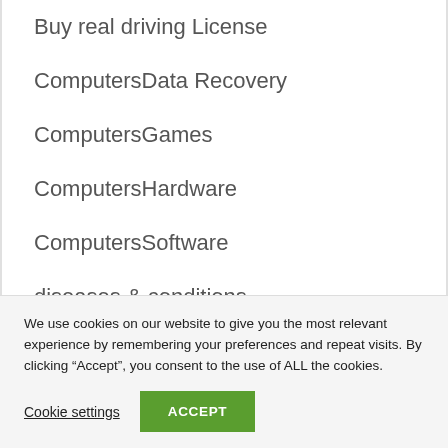Buy real driving License
ComputersData Recovery
ComputersGames
ComputersHardware
ComputersSoftware
diseases & conditions
entertainment
Event
FinancePersonal Finance
We use cookies on our website to give you the most relevant experience by remembering your preferences and repeat visits. By clicking “Accept”, you consent to the use of ALL the cookies.
Cookie settings
ACCEPT